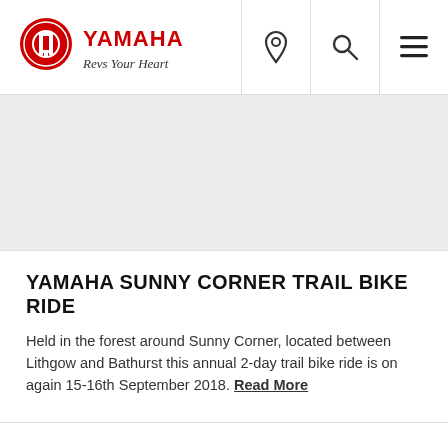YAMAHA — Revs Your Heart (logo, navigation with location, search, menu icons)
[Figure (photo): Large gray placeholder image area for a trail bike ride photo]
YAMAHA SUNNY CORNER TRAIL BIKE RIDE
Held in the forest around Sunny Corner, located between Lithgow and Bathurst this annual 2-day trail bike ride is on again 15-16th September 2018. Read More